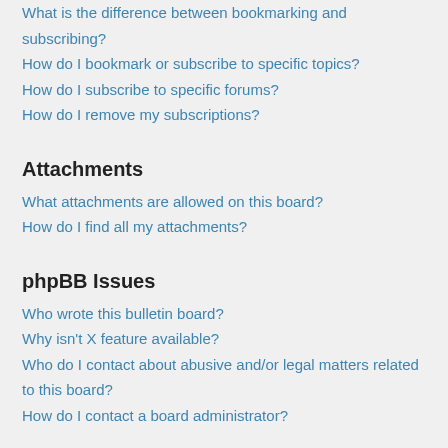What is the difference between bookmarking and subscribing?
How do I bookmark or subscribe to specific topics?
How do I subscribe to specific forums?
How do I remove my subscriptions?
Attachments
What attachments are allowed on this board?
How do I find all my attachments?
phpBB Issues
Who wrote this bulletin board?
Why isn't X feature available?
Who do I contact about abusive and/or legal matters related to this board?
How do I contact a board administrator?
Login and Registration Issues
Why do I need to register?
You may not have to, it is up to the administrator of the board as to